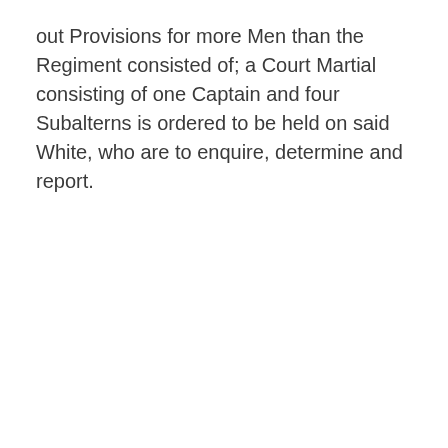out Provisions for more Men than the Regiment consisted of; a Court Martial consisting of one Captain and four Subalterns is ordered to be held on said White, who are to enquire, determine and report.